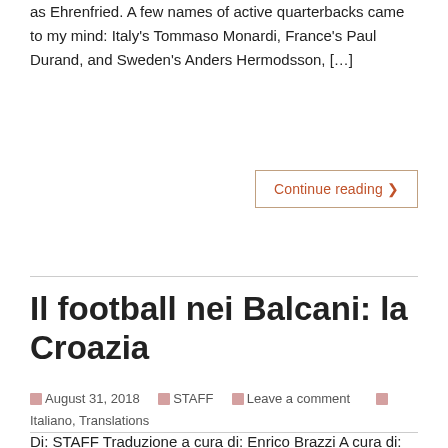as Ehrenfried. A few names of active quarterbacks came to my mind: Italy's Tommaso Monardi, France's Paul Durand, and Sweden's Anders Hermodsson, […]
Continue reading ❯
Il football nei Balcani: la Croazia
August 31, 2018   STAFF   Leave a comment   Italiano, Translations
Di: STAFF Traduzione a cura di: Enrico Brazzi A cura di: Céline Martin   Affermare che l'Europa debba molte delle sue tradizioni storiche e culturali alla regione dei Balcani